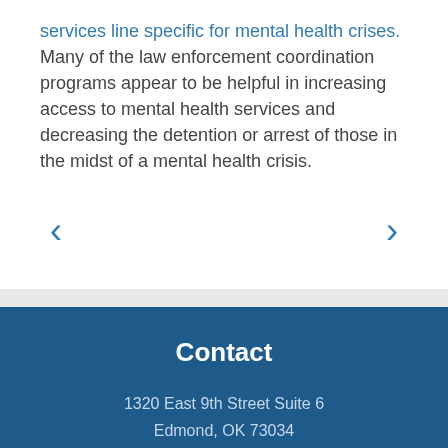services line specific for mental health crises. Many of the law enforcement coordination programs appear to be helpful in increasing access to mental health services and decreasing the detention or arrest of those in the midst of a mental health crisis.
[Figure (other): Navigation arrows: left chevron and right chevron for carousel navigation]
Contact
1320 East 9th Street Suite 6
Edmond, OK 73034
United States
(405) 440-3034